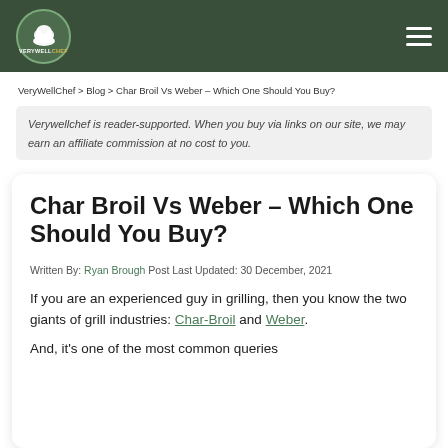VERYWELLCHEF
VeryWellChef > Blog > Char Broil Vs Weber – Which One Should You Buy?
Verywellchef is reader-supported. When you buy via links on our site, we may earn an affiliate commission at no cost to you.
Char Broil Vs Weber – Which One Should You Buy?
Written By: Ryan Brough  Post Last Updated: 30 December, 2021
If you are an experienced guy in grilling, then you know the two giants of grill industries: Char-Broil and Weber.
And, it's one of the most common queries